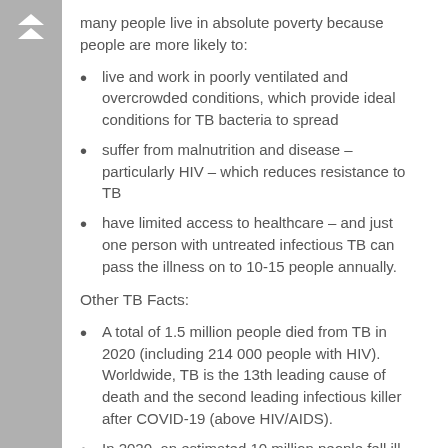many people live in absolute poverty because people are more likely to:
live and work in poorly ventilated and overcrowded conditions, which provide ideal conditions for TB bacteria to spread
suffer from malnutrition and disease – particularly HIV – which reduces resistance to TB
have limited access to healthcare – and just one person with untreated infectious TB can pass the illness on to 10-15 people annually.
Other TB Facts:
A total of 1.5 million people died from TB in 2020 (including 214 000 people with HIV). Worldwide, TB is the 13th leading cause of death and the second leading infectious killer after COVID-19 (above HIV/AIDS).
In 2020, an estimated 10 million people fell ill